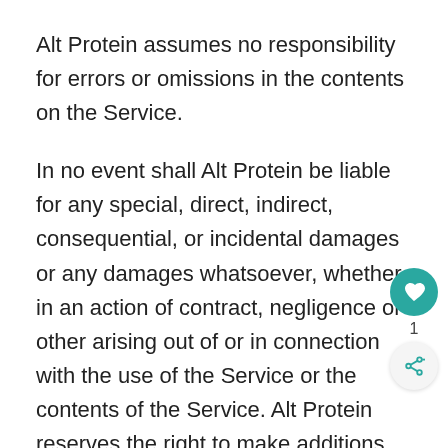Alt Protein assumes no responsibility for errors or omissions in the contents on the Service.
In no event shall Alt Protein be liable for any special, direct, indirect, consequential, or incidental damages or any damages whatsoever, whether in an action of contract, negligence or other arising out of or in connection with the use of the Service or the contents of the Service. Alt Protein reserves the right to make additions, deletions, or modification to the contents on the Service at any time without prior notice.
Alt Protein does not warrant that the Service is free of viruses or other harmful components.